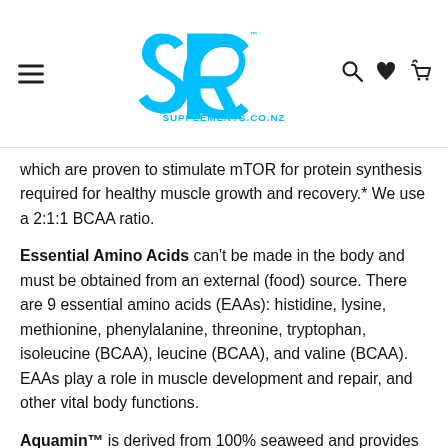SUPPLEMENTS.CO.NZ logo with hamburger menu and search/wishlist/cart icons
which are proven to stimulate mTOR for protein synthesis required for healthy muscle growth and recovery.* We use a 2:1:1 BCAA ratio.
Essential Amino Acids can't be made in the body and must be obtained from an external (food) source. There are 9 essential amino acids (EAAs): histidine, lysine, methionine, phenylalanine, threonine, tryptophan, isoleucine (BCAA), leucine (BCAA), and valine (BCAA). EAAs play a role in muscle development and repair, and other vital body functions.
Aquamin™ is derived from 100% seaweed and provides bioactive calcium, magnesium, and 72 other